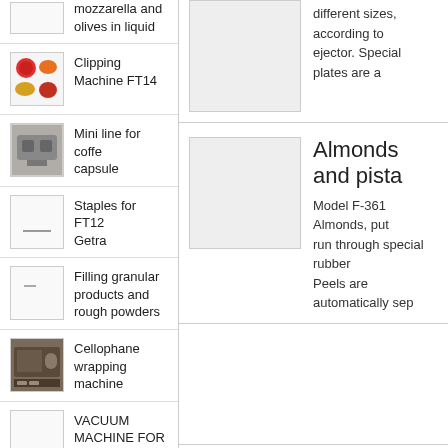mozzarella and olives in liquid
Clipping Machine FT14
Mini line for coffe capsule
Staples for FT12 Getra
Filling granular products and rough powders
Cellophane wrapping machine
VACUUM MACHINE FOR JARS
DOS DOS packaging of granular products up to 5
different sizes, according to ejector. Special plates are a
Almonds and pista
Model F-361 Almonds, put run through special rubber Peels are automatically sep